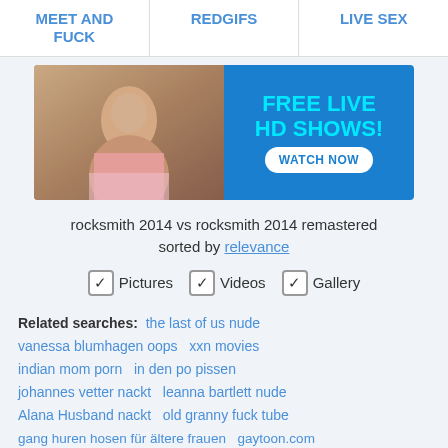MEET AND FUCK   REDGIFS   LIVE SEX
[Figure (photo): Advertisement banner with a woman on the left and blue background on the right with text FREE LIVE HD SHOWS! WATCH NOW]
rocksmith 2014 vs rocksmith 2014 remastered sorted by relevance
✓ Pictures  ✓ Videos  ✓ Gallery
Related searches: the last of us nude  vanessa blumhagen oops  xxn movies  indian mom porn  in den po pissen  johannes vetter nackt  leanna bartlett nude  Alana Husband nackt  old granny fuck tube  gang huren hosen für ältere frauen  gaytoon.com